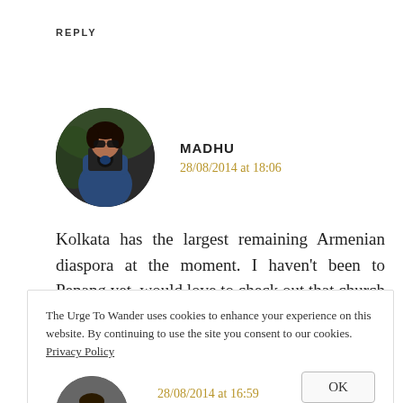REPLY
[Figure (photo): Circular avatar photo of a woman holding a camera, wearing a blue top, dark background]
MADHU
28/08/2014 at 18:06
Kolkata has the largest remaining Armenian diaspora at the moment. I haven't been to Penang yet, would love to check out that church as well. Thanks Lee.
The Urge To Wander uses cookies to enhance your experience on this website. By continuing to use the site you consent to our cookies. Privacy Policy
OK
28/08/2014 at 16:59